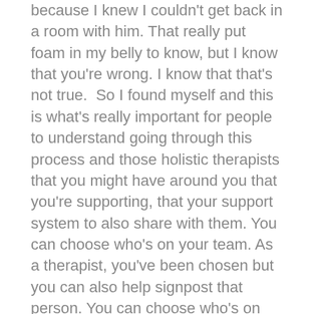because I knew I couldn't get back in a room with him. That really put foam in my belly to know, but I know that you're wrong. I know that that's not true.  So I found myself and this is what's really important for people to understand going through this process and those holistic therapists that you might have around you that you're supporting, that your support system to also share with them. You can choose who's on your team. As a therapist, you've been chosen but you can also help signpost that person. You can choose who's on your A Team.
No, I had no idea. Nobody's going to tell you about that.  And I found this lady who  I didn't need anything more than someone that would turn a blind eye, as opposed to giving me reasons all the time not to do it. But even with someone that was